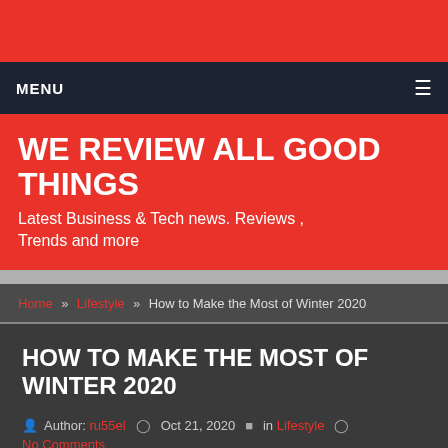MENU
WE REVIEW ALL GOOD THINGS
Latest Business & Tech news. Reviews , Trends and more
Home » Lifestyle » How to Make the Most of Winter 2020
HOW TO MAKE THE MOST OF WINTER 2020
Author: ru55el   Oct 21, 2020   in Lifestyle   No Comments
The winter months can make some people feel a little down